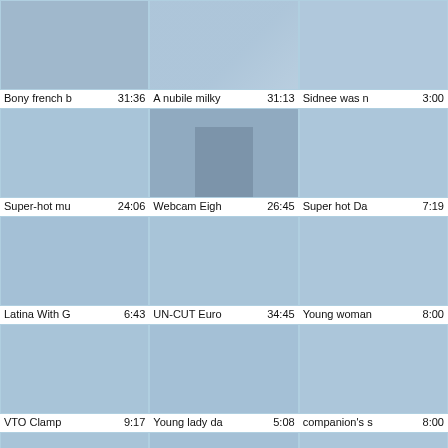[Figure (screenshot): Video thumbnail grid showing 12 video thumbnails in 3 columns with titles and durations]
Bony french b  31:36
A nubile milky  31:13
Sidnee was n  3:00
Super-hot mu  24:06
Webcam Eigh  26:45
Super hot Da  7:19
Latina With G  6:43
UN-CUT Euro  34:45
Young woman  8:00
VTO Clamp  9:17
Young lady da  5:08
companion's s  8:00